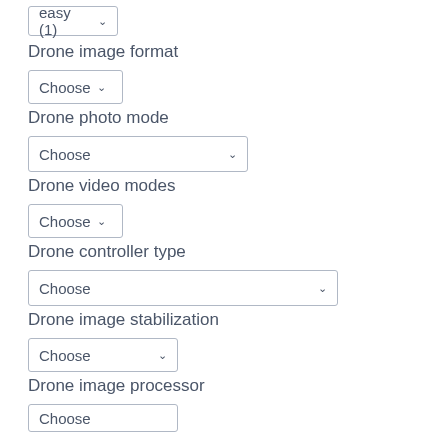[Figure (screenshot): A dropdown selector showing 'easy (1)' with a chevron arrow, partially cropped at top]
Drone image format
[Figure (screenshot): A dropdown selector showing 'Choose' with a chevron arrow]
Drone photo mode
[Figure (screenshot): A wider dropdown selector showing 'Choose' with a chevron arrow]
Drone video modes
[Figure (screenshot): A dropdown selector showing 'Choose' with a chevron arrow]
Drone controller type
[Figure (screenshot): A wide dropdown selector showing 'Choose' with a chevron arrow]
Drone image stabilization
[Figure (screenshot): A dropdown selector showing 'Choose' with a chevron arrow]
Drone image processor
[Figure (screenshot): A dropdown selector showing 'Choose', partially cropped at bottom]